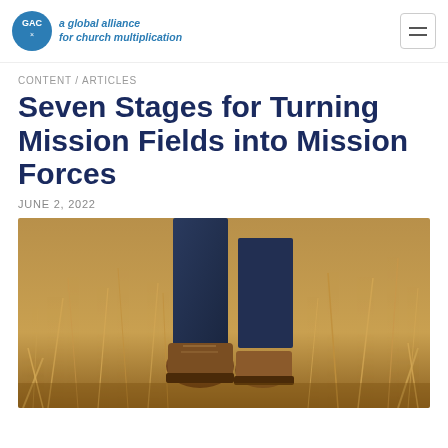a global alliance for church multiplication
CONTENT / ARTICLES
Seven Stages for Turning Mission Fields into Mission Forces
JUNE 2, 2022
[Figure (photo): Close-up photo of a person walking through tall dry golden grass, wearing brown boots and navy blue jeans, taken from low angle showing legs and feet.]